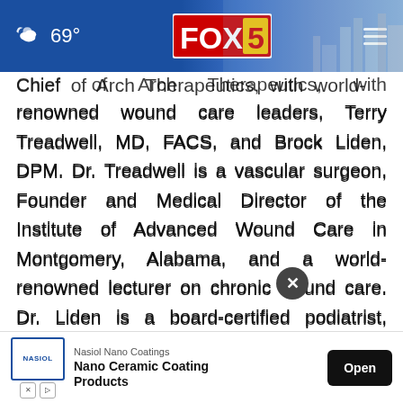[Figure (screenshot): FOX 5 news website header bar with weather showing 69°, FOX 5 logo in center, hamburger menu icon on right, cityscape background on right side]
Chief of Arch Therapeutics, with world-renowned wound care leaders, Terry Treadwell, MD, FACS, and Brock Liden, DPM. Dr. Treadwell is a vascular surgeon, Founder and Medical Director of the Institute of Advanced Wound Care in Montgomery, Alabama, and a world-renowned lecturer on chronic wound care. Dr. Liden is a board-certified podiatrist, attending physician at the Circleville Foot & Ankle Center, and expert lecturer on wound care, podiatric medicine and wound management.
[Figure (screenshot): Advertisement banner at bottom: Nasiol Nano Coatings - Nano Ceramic Coating Products with Open button, with X close button overlapping the article text]